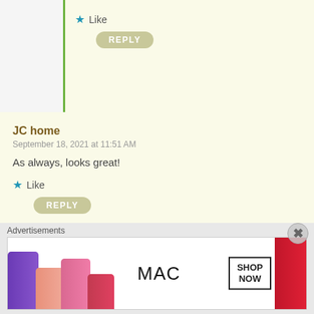Like
REPLY
JC home
September 18, 2021 at 11:51 AM
As always, looks great!
Like
REPLY
indianeskitchen
September 19, 2021 at 12:40 AM
Thanks! 🤨
Advertisements
[Figure (other): MAC cosmetics advertisement banner showing lipsticks in purple, peach, pink, and red colors with MAC logo and SHOP NOW button]